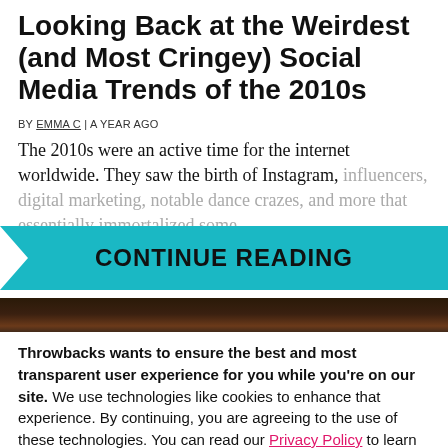Looking Back at the Weirdest (and Most Cringey) Social Media Trends of the 2010s
BY EMMA C | A YEAR AGO
The 2010s were an active time for the internet worldwide. They saw the birth of Instagram, influencers, digital marketing, notable dance crazes, and more that essentially immortalized some
[Figure (other): Teal/cyan continue reading banner with arrow chevron pointing left on left side, bold black text reading CONTINUE READING]
[Figure (photo): Dark background photo strip, appears to show fire and dark bokeh]
Throwbacks wants to ensure the best and most transparent user experience for you while you're on our site. We use technologies like cookies to enhance that experience. By continuing, you are agreeing to the use of these technologies. You can read our Privacy Policy to learn more about how your info is used.
I AGREE, LET'S GO!